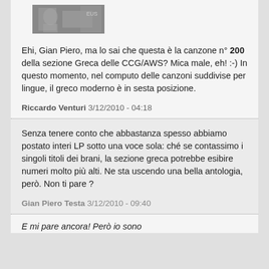[Figure (photo): Small grayscale avatar/photo thumbnail at top of comment block]
Ehi, Gian Piero, ma lo sai che questa è la canzone n° 200 della sezione Greca delle CCG/AWS? Mica male, eh! :-) In questo momento, nel computo delle canzoni suddivise per lingue, il greco moderno è in sesta posizione.
Riccardo Venturi 3/12/2010 - 04:18
Senza tenere conto che abbastanza spesso abbiamo postato interi LP sotto una voce sola: ché se contassimo i singoli titoli dei brani, la sezione greca potrebbe esibire numeri molto più alti. Ne sta uscendo una bella antologia, però. Non ti pare ?
Gian Piero Testa 3/12/2010 - 09:40
E mi pare ancora! Però io sono